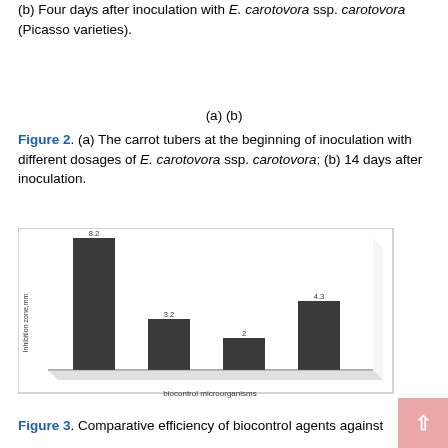(b) Four days after inoculation with E. carotovora ssp. carotovora (Picasso varieties).
(a) (b)
Figure 2. (a) The carrot tubers at the beginning of inoculation with different dosages of E. carotovora ssp. carotovora; (b) 14 days after inoculation.
[Figure (bar-chart): ]
Figure 3. Comparative efficiency of biocontrol agents against